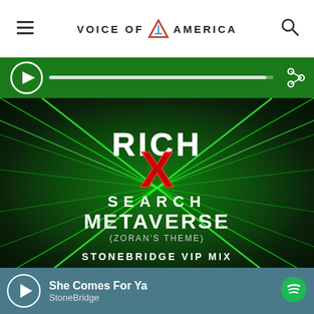Voice of America
[Figure (screenshot): Album art for Rich X Search - Metaverse (Zoran's Theme) StoneBridge VIP Mix. Dark green neon tunnel background with the text RICH X SEARCH METAVERSE (ZORAN'S THEME) STONEBRIDGE VIP MIX overlaid. There is a green media player bar at the top with a circular play button and a share icon.]
She Comes For Ya
StoneBridge